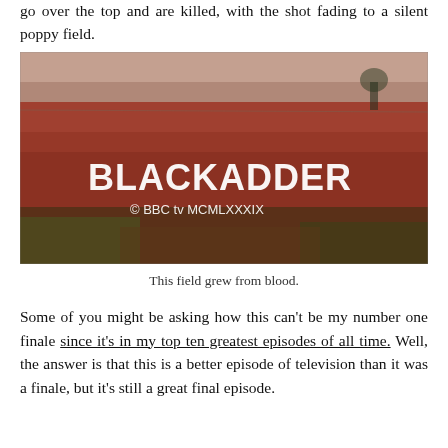go over the top and are killed, with the shot fading to a silent poppy field.
[Figure (photo): A photograph of a poppy field with the text 'BLACKADDER © BBC tv MCMLXXXIX' overlaid in white letters on the image.]
This field grew from blood.
Some of you might be asking how this can't be my number one finale since it's in my top ten greatest episodes of all time. Well, the answer is that this is a better episode of television than it was a finale, but it's still a great final episode.